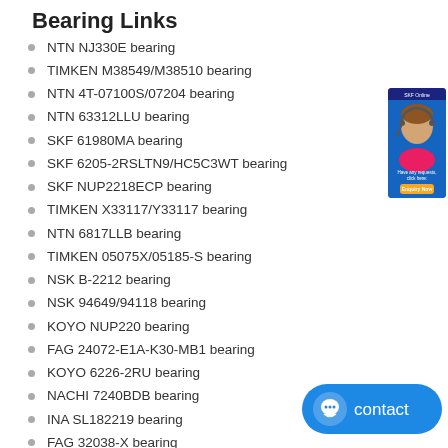Bearing Links
NTN NJ330E bearing
TIMKEN M38549/M38510 bearing
NTN 4T-07100S/07204 bearing
NTN 63312LLU bearing
SKF 61980MA bearing
SKF 6205-2RSLTN9/HC5C3WT bearing
SKF NUP2218ECP bearing
TIMKEN X33117/Y33117 bearing
NTN 6817LLB bearing
TIMKEN 05075X/05185-S bearing
NSK B-2212 bearing
NSK 94649/94118 bearing
KOYO NUP220 bearing
FAG 24072-E1A-K30-MB1 bearing
KOYO 6226-2RU bearing
NACHI 7240BDB bearing
INA SL182219 bearing
FAG 32038-X bearing
KOYO 33008JR bearing
KOYO 6924Z bearing
[Figure (photo): Customer service representative woman with headset, advertisement widget]
[Figure (other): Blue contact button with chat icon]